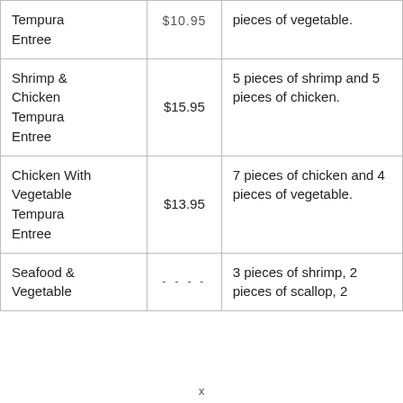| Item | Price | Description |
| --- | --- | --- |
| Tempura Entree | $10.95 | pieces of vegetable. |
| Shrimp & Chicken Tempura Entree | $15.95 | 5 pieces of shrimp and 5 pieces of chicken. |
| Chicken With Vegetable Tempura Entree | $13.95 | 7 pieces of chicken and 4 pieces of vegetable. |
| Seafood & Vegetable | - - - - | 3 pieces of shrimp, 2 pieces of scallop, 2 |
x